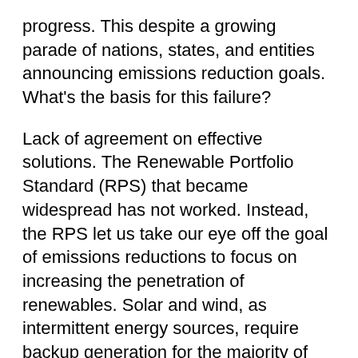progress. This despite a growing parade of nations, states, and entities announcing emissions reduction goals. What's the basis for this failure?
Lack of agreement on effective solutions. The Renewable Portfolio Standard (RPS) that became widespread has not worked. Instead, the RPS let us take our eye off the goal of emissions reductions to focus on increasing the penetration of renewables. Solar and wind, as intermittent energy sources, require backup generation for the majority of their nameplate capacity. Somehow, use of natural gas was back-doored, allowing gas generation to expand like a weed beneath the thin veneer of renewables, despite its huge emissions and